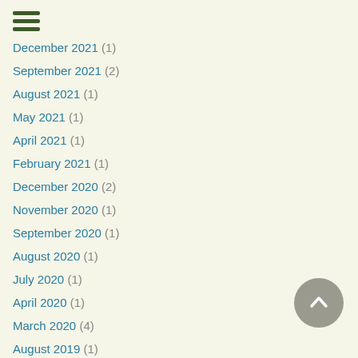[Figure (other): Hamburger menu icon with three dark green horizontal lines]
December 2021 (1)
September 2021 (2)
August 2021 (1)
May 2021 (1)
April 2021 (1)
February 2021 (1)
December 2020 (2)
November 2020 (1)
September 2020 (1)
August 2020 (1)
July 2020 (1)
April 2020 (1)
March 2020 (4)
August 2019 (1)